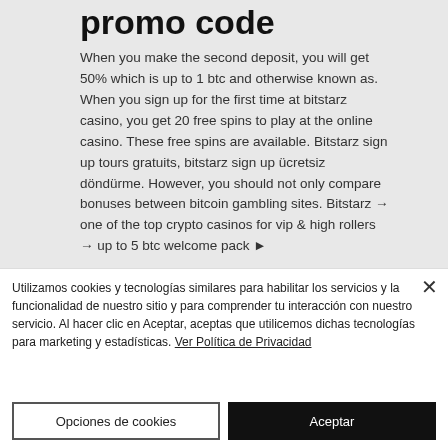promo code
When you make the second deposit, you will get 50% which is up to 1 btc and otherwise known as. When you sign up for the first time at bitstarz casino, you get 20 free spins to play at the online casino. These free spins are available. Bitstarz sign up tours gratuits, bitstarz sign up ücretsiz döndürme. However, you should not only compare bonuses between bitcoin gambling sites. Bitstarz → one of the top crypto casinos for vip &amp; high rollers → up to 5 btc welcome pack ►
Utilizamos cookies y tecnologías similares para habilitar los servicios y la funcionalidad de nuestro sitio y para comprender tu interacción con nuestro servicio. Al hacer clic en Aceptar, aceptas que utilicemos dichas tecnologías para marketing y estadísticas. Ver Política de Privacidad
Opciones de cookies
Aceptar